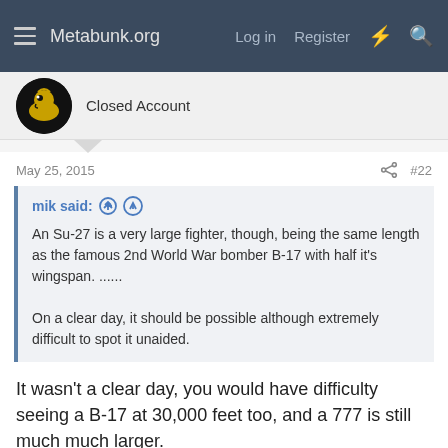Metabunk.org  Log in  Register
Closed Account
May 25, 2015  #22
mik said: An Su-27 is a very large fighter, though, being the same length as the famous 2nd World War bomber B-17 with half it's wingspan. ......

On a clear day, it should be possible although extremely difficult to spot it unaided.
It wasn't a clear day, you would have difficulty seeing a B-17 at 30,000 feet too, and a 777 is still much much larger.
I'm quite confident in that I've heard the transcontinental 777ERs flying over my general area at FL330 and higher on multiple occasions, though I do admit the sound is very faint, and very difficult...